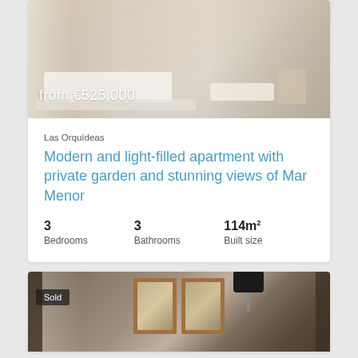[Figure (photo): Interior photo of a modern light-filled apartment with white furniture, wooden floors, and large windows. Price overlay shows 'from €525,000']
Las Orquídeas
Modern and light-filled apartment with private garden and stunning views of Mar Menor
3 Bedrooms   3 Bathrooms   114m² Built size
[Figure (photo): Partial interior photo of a room with dark curtains, framed artwork on wall, and a black floor lamp. Badge shows 'Sold']